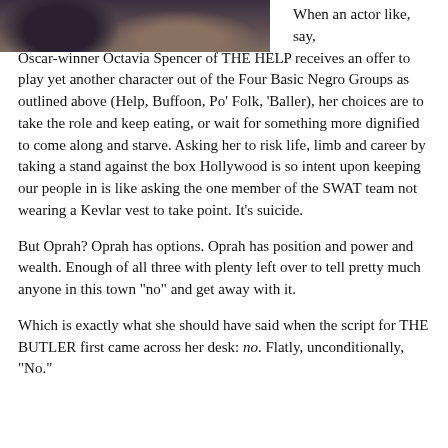[Figure (photo): Partial photo of a person, dark tones, cropped at top-left of page]
When an actor like, say, Oscar-winner Octavia Spencer of THE HELP receives an offer to play yet another character out of the Four Basic Negro Groups as outlined above (Help, Buffoon, Po’ Folk, ‘Baller), her choices are to take the role and keep eating, or wait for something more dignified to come along and starve.  Asking her to risk life, limb and career by taking a stand against the box Hollywood is so intent upon keeping our people in is like asking the one member of the SWAT team not wearing a Kevlar vest to take point.  It’s suicide.
But Oprah?  Oprah has options.  Oprah has position and power and wealth.  Enough of all three with plenty left over to tell pretty much anyone in this town “no” and get away with it.
Which is exactly what she should have said when the script for THE BUTLER first came across her desk: no.  Flatly, unconditionally, “No.”